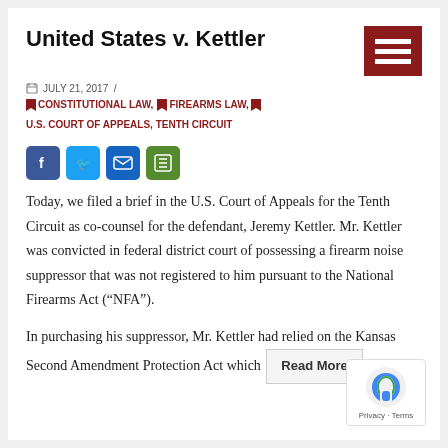United States v. Kettler
JULY 21, 2017 /
CONSTITUTIONAL LAW, FIREARMS LAW, U.S. COURT OF APPEALS, TENTH CIRCUIT
Today, we filed a brief in the U.S. Court of Appeals for the Tenth Circuit as co-counsel for the defendant, Jeremy Kettler. Mr. Kettler was convicted in federal district court of possessing a firearm noise suppressor that was not registered to him pursuant to the National Firearms Act (“NFA”).
In purchasing his suppressor, Mr. Kettler had relied on the Kansas Second Amendment Protection Act which
Read More